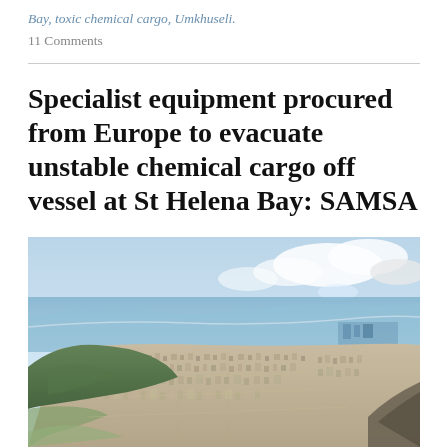Bay, toxic chemical cargo, Umkhuseli.
11 Comments
Specialist equipment procured from Europe to evacuate unstable chemical cargo off vessel at St Helena Bay: SAMSA
[Figure (photo): Aerial photograph of a coastal city with a bay, mountains, urban sprawl, and a harbour visible in the background under a partly cloudy sky.]